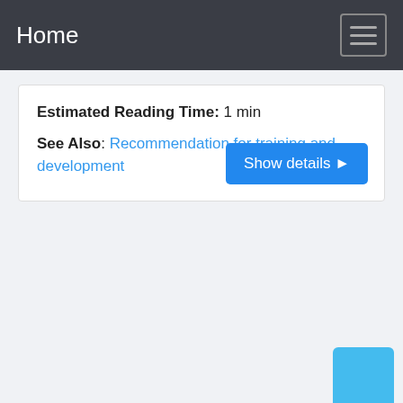Home
Estimated Reading Time: 1 min
See Also: Recommendation for training and development
Show details ▶
[Figure (other): Blue square floating action button in bottom right corner]